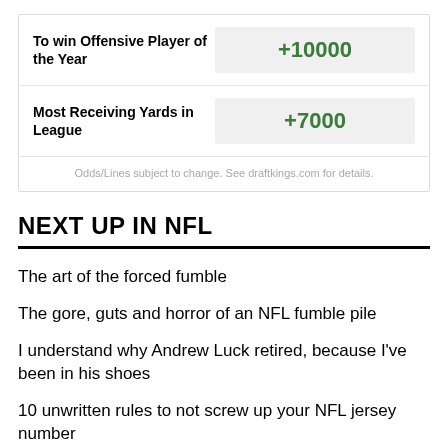| Bet Type | Odds |
| --- | --- |
| To win Offensive Player of the Year | +10000 |
| Most Receiving Yards in League | +7000 |
Odds/Lines subject to change. See draftkings.com for details.
NEXT UP IN NFL
The art of the forced fumble
The gore, guts and horror of an NFL fumble pile
I understand why Andrew Luck retired, because I've been in his shoes
10 unwritten rules to not screw up your NFL jersey number
The never-before-revealed details of the infamous Eli Manning draft-day trade
NFL referee Sarah Thomas doesn't have time for your